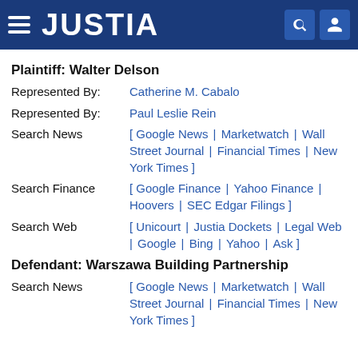JUSTIA
Plaintiff: Walter Delson
Represented By: Catherine M. Cabalo
Represented By: Paul Leslie Rein
Search News [ Google News | Marketwatch | Wall Street Journal | Financial Times | New York Times ]
Search Finance [ Google Finance | Yahoo Finance | Hoovers | SEC Edgar Filings ]
Search Web [ Unicourt | Justia Dockets | Legal Web | Google | Bing | Yahoo | Ask ]
Defendant: Warszawa Building Partnership
Search News [ Google News | Marketwatch | Wall Street Journal | Financial Times | New York Times ]